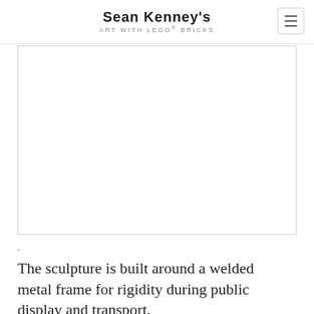Sean Kenney's Art with LEGO® Bricks
[Figure (photo): A white/blank image area shown as a large rectangular box with a border, appearing mostly empty/white — likely a LEGO sculpture photograph that did not load or is cropped out.]
.
The sculpture is built around a welded metal frame for rigidity during public display and transport.